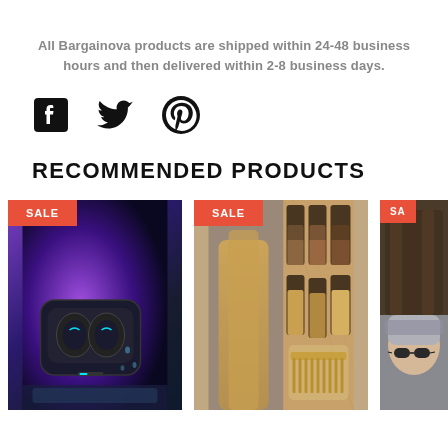All Bargainova products are shipped within 24-48 business hours and then delivered within 2-8 business days.
[Figure (infographic): Social media share icons: Facebook, Twitter, Pinterest]
RECOMMENDED PRODUCTS
[Figure (photo): Product card 1: wireless earbuds in charging case, purple/black, SALE badge]
[Figure (photo): Product card 2: hair extensions and woman with long blonde hair, SALE badge]
[Figure (photo): Product card 3: hair extensions/braids and person with sunglasses, SALE badge (partially visible)]